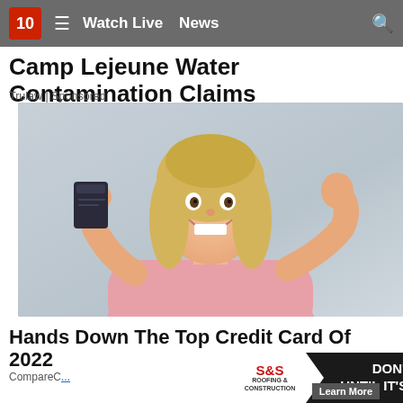10 | Watch Live | News
Camp Lejeune Water Contamination Claims
Trulaw | Sponsored
[Figure (photo): Smiling middle-aged blonde woman in a pink sweater holding up a dark credit card in one hand and pumping her fist with the other, against a light gray background.]
Hands Down The Top Credit Card Of 2022
CompareC... | Learn More
[Figure (infographic): S&S Roofing & Construction advertisement banner with red/black logo and bold white text reading DON'T WAIT UNTIL IT'S TOO LATE!]